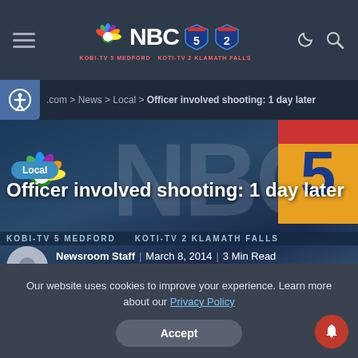NBC 5/2 - KOBI-TV 5 MEDFORD / KOTI-TV 2 KLAMATH FALLS
.com > News > Local > Officer involved shooting: 1 day later
[Figure (screenshot): NBC 5 hero image with NBC logo and shield graphic on blue background]
Officer involved shooting: 1 day later
KOBI-TV 5 MEDFORD   KOTI-TV 2 KLAMATH FALLS
Newsroom Staff | March 8, 2014 | 3 Min Read
Social sharing icons: Facebook, Twitter, Pinterest, Reddit, Email
Our website uses cookies to improve your experience. Learn more about our Privacy Policy
Accept